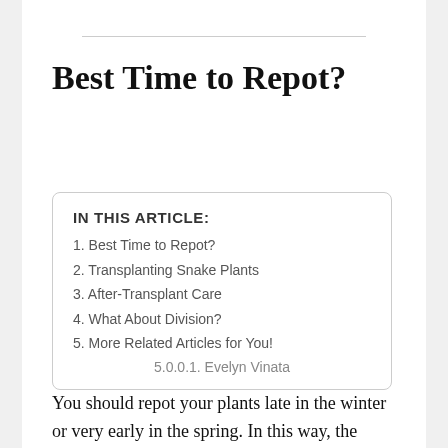Best Time to Repot?
IN THIS ARTICLE:
1. Best Time to Repot?
2. Transplanting Snake Plants
3. After-Transplant Care
4. What About Division?
5. More Related Articles for You!
5.0.0.1. Evelyn Vinata
You should repot your plants late in the winter or very early in the spring. In this way, the plant is not